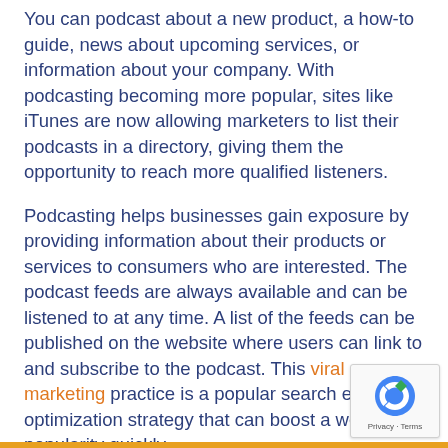You can podcast about a new product, a how-to guide, news about upcoming services, or information about your company.  With podcasting becoming more popular, sites like iTunes are now allowing marketers to list their podcasts in a directory, giving them the opportunity to reach more qualified listeners.
Podcasting helps businesses gain exposure by providing information about their products or services to consumers who are interested.  The podcast feeds are always available and can be listened to at any time.  A list of the feeds can be published on the website where users can link to and subscribe to the podcast.  This viral marketing practice is a popular search engine optimization strategy that can boost a website's popularity quickly.